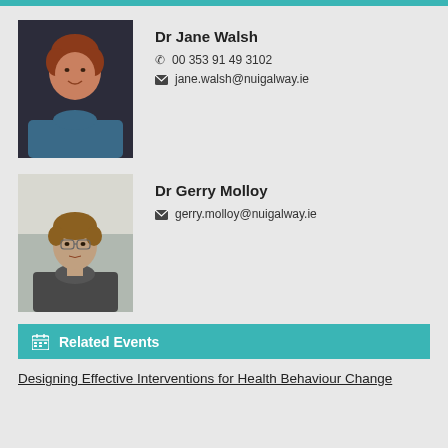[Figure (photo): Headshot photo of Dr Jane Walsh, a woman with short reddish-brown hair wearing a blue top, smiling.]
Dr Jane Walsh
☎ 00 353 91 49 3102
✉ jane.walsh@nuigalway.ie
[Figure (photo): Headshot photo of Dr Gerry Molloy, a man with short brown hair wearing glasses and a dark jacket.]
Dr Gerry Molloy
✉ gerry.molloy@nuigalway.ie
Related Events
Designing Effective Interventions for Health Behaviour Change